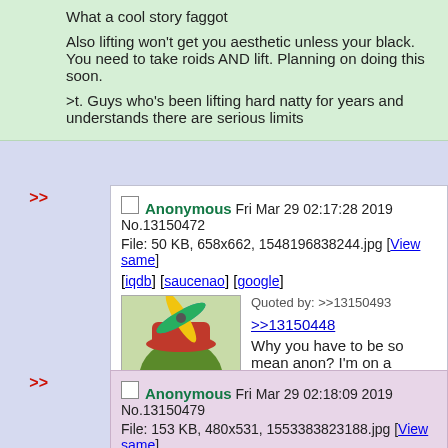What a cool story faggot

Also lifting won't get you aesthetic unless your black. You need to take roids AND lift. Planning on doing this soon.

>t. Guys who's been lifting hard natty for years and understands there are serious limits
Anonymous Fri Mar 29 02:17:28 2019 No.13150472
File: 50 KB, 658x662, 1548196838244.jpg [View same] [iqdb] [saucenao] [google]
Quoted by: >>13150493
>>13150448
Why you have to be so mean anon? I'm on a weight loss mission.
Anonymous Fri Mar 29 02:18:09 2019 No.13150479
File: 153 KB, 480x531, 1553383823188.jpg [View same] [iqdb] [saucenao] [google]
Quoted by: >>13150489 >>13150500
Dont go to the yacht party. You'll